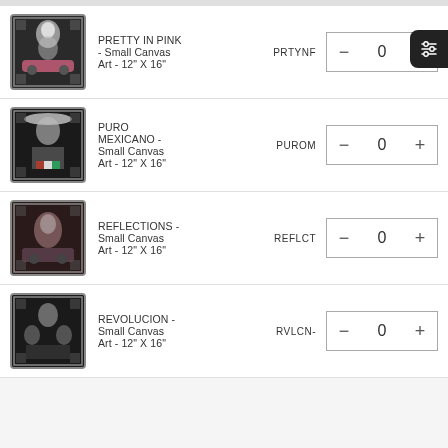PRETTY IN PINK - Small Canvas Art - 12" X 16" | PRTYNF | qty: 0
PURO MEXICANO - Small Canvas Art - 12" X 16" | PUROM | qty: 0
REFLECTIONS - Small Canvas Art - 12" X 16" | REFLCT | qty: 0
REVOLUCION - Small Canvas Art - 12" X 16" | RVLCN- | qty: 0